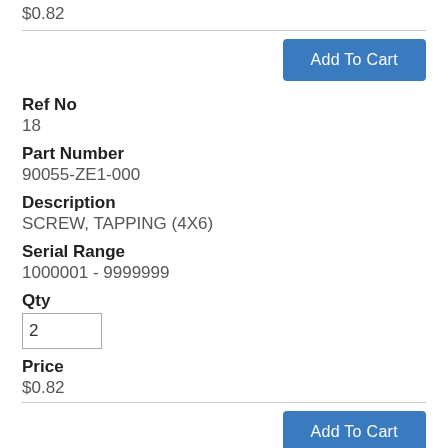$0.82
Add To Cart
Ref No
18
Part Number
90055-ZE1-000
Description
SCREW, TAPPING (4X6)
Serial Range
1000001 - 9999999
Qty
2
Price
$0.82
Add To Cart
Ref No
18